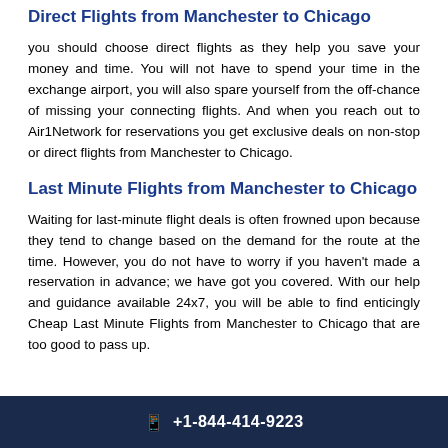Direct Flights from Manchester to Chicago
you should choose direct flights as they help you save your money and time. You will not have to spend your time in the exchange airport, you will also spare yourself from the off-chance of missing your connecting flights. And when you reach out to Air1Network for reservations you get exclusive deals on non-stop or direct flights from Manchester to Chicago.
Last Minute Flights from Manchester to Chicago
Waiting for last-minute flight deals is often frowned upon because they tend to change based on the demand for the route at the time. However, you do not have to worry if you haven't made a reservation in advance; we have got you covered. With our help and guidance available 24x7, you will be able to find enticingly Cheap Last Minute Flights from Manchester to Chicago that are too good to pass up.
+1-844-414-9223